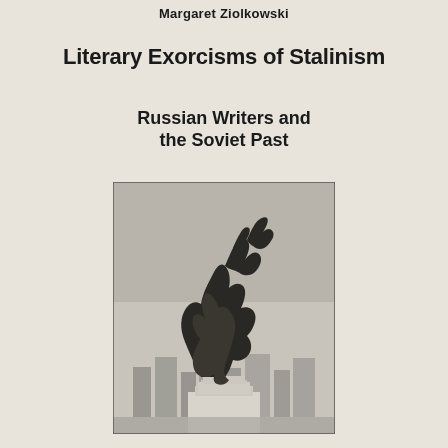Margaret Ziolkowski
Literary Exorcisms of Stalinism
Russian Writers and the Soviet Past
[Figure (photo): Black and white photograph of the Soviet monumental sculpture 'Worker and Kolkhoz Woman' by Vera Mukhina, depicting two figures with raised hammer and sickle, standing on a tall pedestal against a sky background with buildings visible below.]